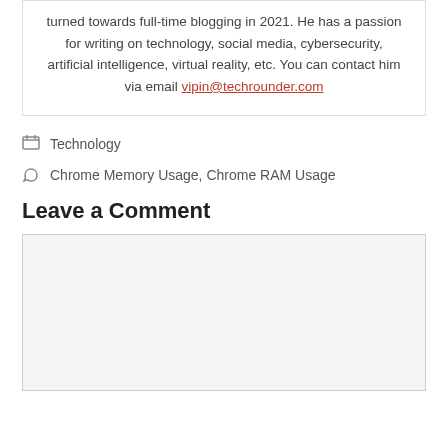turned towards full-time blogging in 2021. He has a passion for writing on technology, social media, cybersecurity, artificial intelligence, virtual reality, etc. You can contact him via email vipin@techrounder.com
Technology
Chrome Memory Usage, Chrome RAM Usage
Leave a Comment